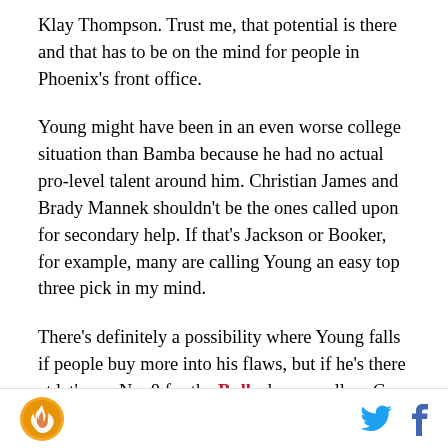Klay Thompson. Trust me, that potential is there and that has to be on the mind for people in Phoenix's front office.
Young might have been in an even worse college situation than Bamba because he had no actual pro-level talent around him. Christian James and Brady Mannek shouldn't be the ones called upon for secondary help. If that's Jackson or Booker, for example, many are calling Young an easy top three pick in my mind.
There's definitely a possibility where Young falls if people buy more into his flaws, but if he's there at let's say No. 8 for the Bulls do you call up Gar Forman and